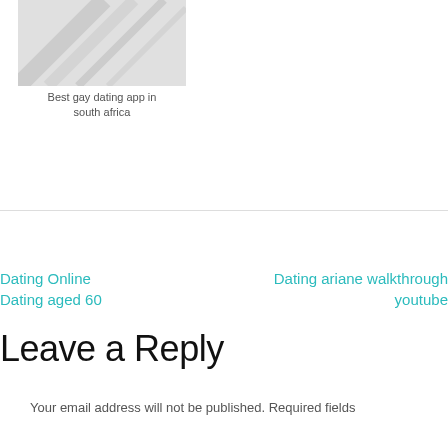[Figure (photo): Placeholder image with diagonal stripe pattern on light grey background]
Best gay dating app in south africa
Dating Online
Dating aged 60
Dating ariane walkthrough youtube
Leave a Reply
Your email address will not be published. Required fields